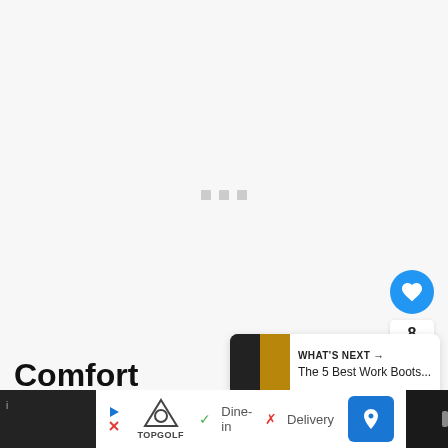[Figure (screenshot): Loading state of a webpage with three gray square dots centered on a light gray background]
[Figure (illustration): Blue circular like/heart button with white heart icon]
8
[Figure (illustration): White circular share button with share icon]
[Figure (screenshot): What's Next panel showing thumbnail and text: The 5 Best Work Boots...]
Comfort
[Figure (screenshot): Advertisement bar at bottom: TopGolf, Dine-in checkmark, Delivery X, navigation button, dark right panel]